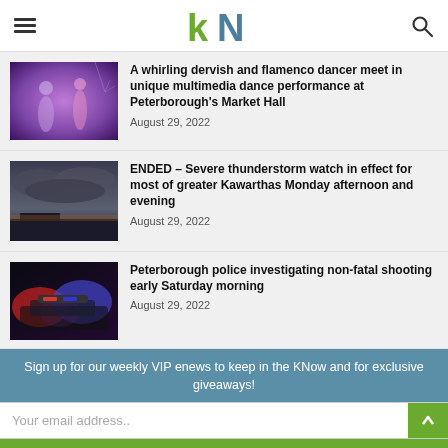kN — Kawarthas Now navigation header
A whirling dervish and flamenco dancer meet in unique multimedia dance performance at Peterborough's Market Hall
August 29, 2022
ENDED – Severe thunderstorm watch in effect for most of greater Kawarthas Monday afternoon and evening
August 29, 2022
Peterborough police investigating non-fatal shooting early Saturday morning
August 29, 2022
Sign up for our weekly VIP enews to keep in the KNow and for exclusive giveaways!
Your email address..
SUBSCRIBE